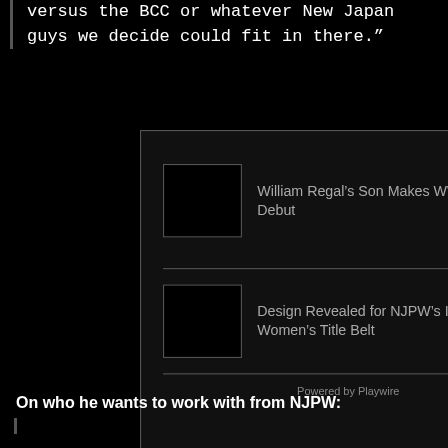versus the BCC or whatever New Japan guys we decide could fit in there.”
[Figure (screenshot): A widget box containing two article links: 'William Regal's Son Makes WWE NXT 2.0 Debut' and 'Design Revealed for NJPW's IWGP Women's Title Belt', each with a thumbnail image placeholder, separated by horizontal lines, with 'Powered by Playwire' at the bottom.]
On who he wants to work with from NJPW: